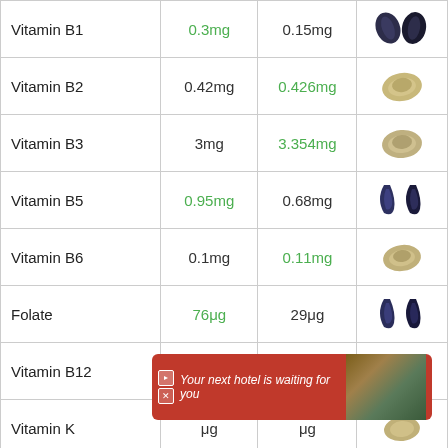| Nutrient | Value 1 | Value 2 | Food |
| --- | --- | --- | --- |
| Vitamin B1 | 0.3mg | 0.15mg |  |
| Vitamin B2 | 0.42mg | 0.426mg |  |
| Vitamin B3 | 3mg | 3.354mg |  |
| Vitamin B5 | 0.95mg | 0.68mg |  |
| Vitamin B6 | 0.1mg | 0.11mg |  |
| Folate | 76μg | 29μg |  |
| Vitamin B12 | 24μg | 98.89μg |  |
| Vitamin K | μg | μg |  |
| Tryptophan |  |  |  |